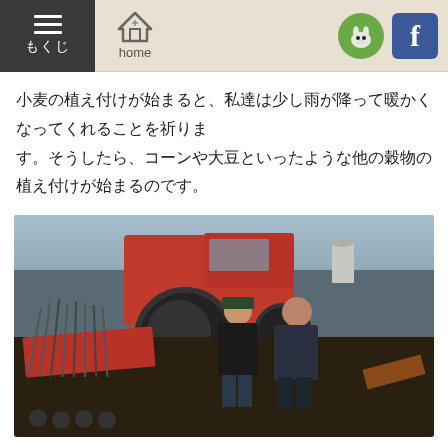もくじ  home
小麦の植え付けが始まると、私達は少し雨が降って暖かくなってくれることを祈ります。そうしたら、コーンや大豆といったような他の穀物の植え付けが始まるのです。
[Figure (photo): Two men standing in front of a large red tractor with planting equipment attached, on a farm field.]